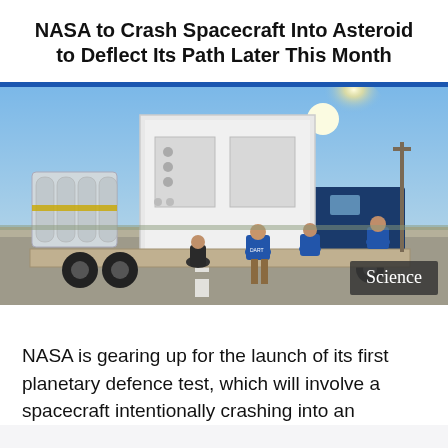NASA to Crash Spacecraft Into Asteroid to Deflect Its Path Later This Month
[Figure (photo): Workers and technicians in blue shirts stand around a large white spacecraft container on a flatbed truck on a desert road, with gas cylinders visible on the left. One person wears a DART-labeled shirt. The sun glows brightly in a blue sky.]
NASA is gearing up for the launch of its first planetary defence test, which will involve a spacecraft intentionally crashing into an